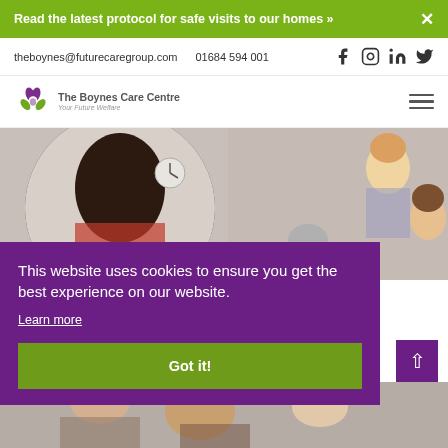Read the latest protocol for safe visits to our homes »  ✕
theboynes@futurecaregroup.com   01684 594 001
[Figure (logo): The Boynes Care Centre logo with green and purple flower/leaf icon and text 'The Boynes Care Centre — Your Future Welfare']
[Figure (photo): Circular cropped photo of people in a care centre setting; woman smiling in background on the right side]
This website uses cookies to ensure you get the best experience on our website.
Learn more
[Figure (other): Green 'Got it!' cookie consent button]
[Figure (photo): Partial bottom strip showing people in care setting]